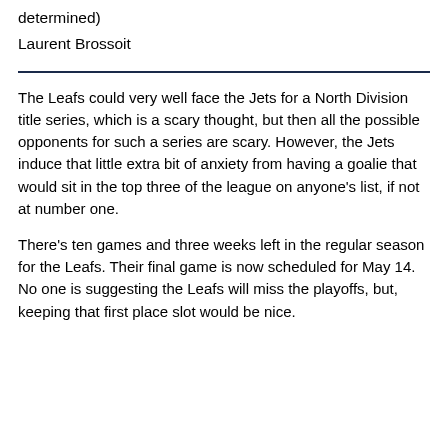determined)
Laurent Brossoit
The Leafs could very well face the Jets for a North Division title series, which is a scary thought, but then all the possible opponents for such a series are scary. However, the Jets induce that little extra bit of anxiety from having a goalie that would sit in the top three of the league on anyone's list, if not at number one.
There's ten games and three weeks left in the regular season for the Leafs. Their final game is now scheduled for May 14. No one is suggesting the Leafs will miss the playoffs, but, keeping that first place slot would be nice.